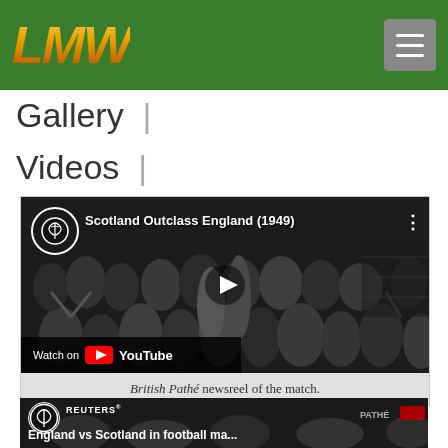LMW Logo and navigation header
Gallery |
Videos |
[Figure (screenshot): YouTube video thumbnail showing Scotland Outclass England (1949) - British Pathé newsreel with black and white crowd image and play button]
British Pathé newsreel of the match.
[Figure (screenshot): Second YouTube video thumbnail showing England vs Scotland in football ma... - Reuters newsreel, partial view]